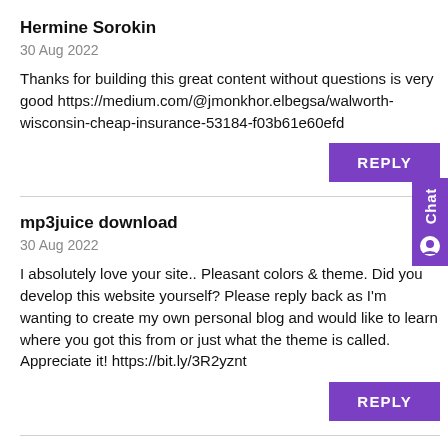Hermine Sorokin
30 Aug 2022
Thanks for building this great content without questions is very good https://medium.com/@jmonkhor.elbegsa/walworth-wisconsin-cheap-insurance-53184-f03b61e60efd
mp3juice download
30 Aug 2022
I absolutely love your site.. Pleasant colors & theme. Did you develop this website yourself? Please reply back as I'm wanting to create my own personal blog and would like to learn where you got this from or just what the theme is called. Appreciate it! https://bit.ly/3R2yznt
online casino nevada
30 Aug 2022